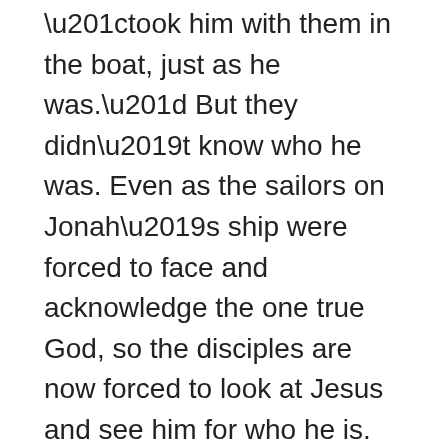“took him with them in the boat, just as he was.” But they didn’t know who he was. Even as the sailors on Jonah’s ship were forced to face and acknowledge the one true God, so the disciples are now forced to look at Jesus and see him for who he is.
So are we. That’s what this passage does. The gospel writers each end this account with a rhetorical question that requires you and I to answer this question as well. They just leave it hovering out there. I love how Matthew says the disciples asked it: “What sort of man is this, that even winds and sea obey him?” The answer is simple. There is only one possible answer. Jesus is